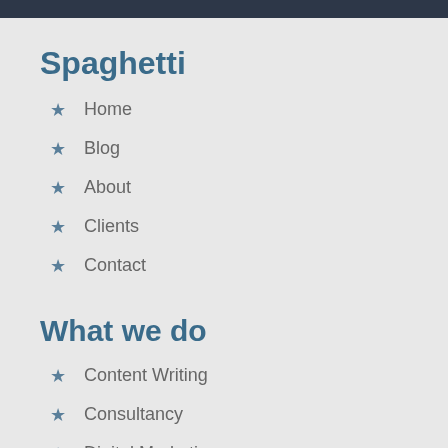Spaghetti
Home
Blog
About
Clients
Contact
What we do
Content Writing
Consultancy
Digital Marketing